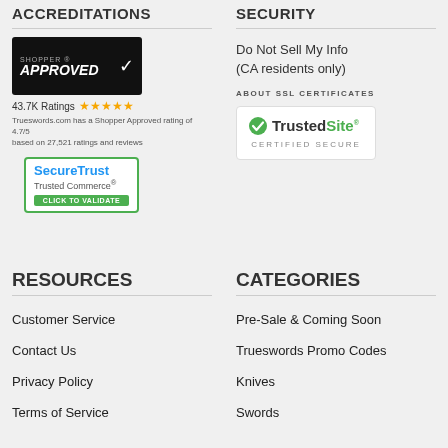ACCREDITATIONS
[Figure (logo): Shopper Approved badge with checkmark, black background]
43.7K Ratings ★★★★★
Trueswords.com has a Shopper Approved rating of 4.7/5 based on 27,521 ratings and reviews
[Figure (logo): SecureTrust Trusted Commerce Click to Validate badge]
SECURITY
Do Not Sell My Info (CA residents only)
ABOUT SSL CERTIFICATES
[Figure (logo): TrustedSite Certified Secure badge]
RESOURCES
Customer Service
Contact Us
Privacy Policy
Terms of Service
CATEGORIES
Pre-Sale & Coming Soon
Trueswords Promo Codes
Knives
Swords